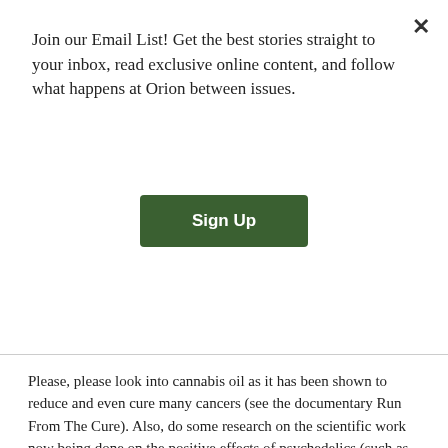Join our Email List! Get the best stories straight to your inbox, read exclusive online content, and follow what happens at Orion between issues.
[Figure (other): Green 'Sign Up' button for email list subscription]
your battle with cancer.
Please, please look into cannabis oil as it has been shown to reduce and even cure many cancers (see the documentary Run From The Cure). Also, do some research on the scientific work now being done on the positive effects of psychedelics (such as mushrooms) in helping to overcome the fear of death.
Mother nature has given us such wonderful medicines to help fight cancer AND fight our fear of death.
NANCY SPRUANCE on April 15, 2014